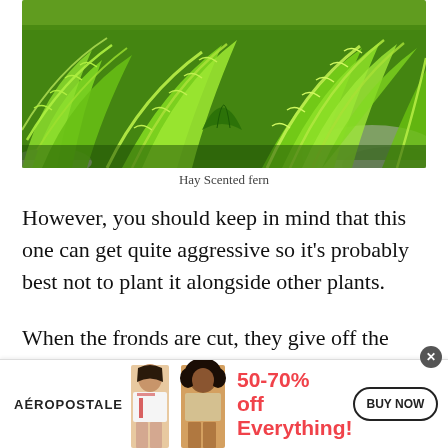[Figure (photo): Hay Scented fern: dense bright green fern fronds growing in a woodland setting with rocks in background]
Hay Scented fern
However, you should keep in mind that this one can get quite aggressive so it's probably best not to plant it alongside other plants.
When the fronds are cut, they give off the aroma of fresh hay which is where the plant gets its name.
[Figure (other): Aéropostale advertisement banner: 50-70% off Everything! BUY NOW button, two female models]